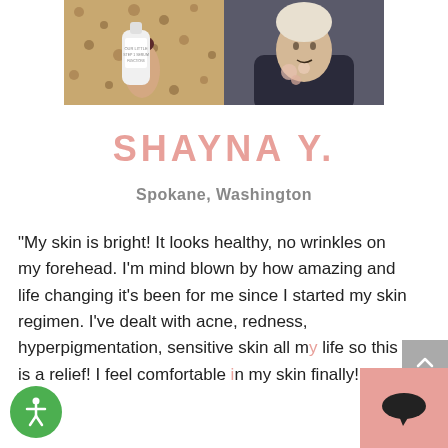[Figure (photo): Two side-by-side photos: left shows a hand holding a skincare product bottle with leopard print background, right shows a person in a dark shirt with floral detail]
SHAYNA Y.
Spokane, Washington
“My skin is bright! It looks healthy, no wrinkles on my forehead. I’m mind blown by how amazing and life changing it’s been for me since I started my skin regimen. I’ve dealt with acne, redness, hyperpigmentation, sensitive skin all my life so this is a relief! I feel comfortable in my skin finally!!”